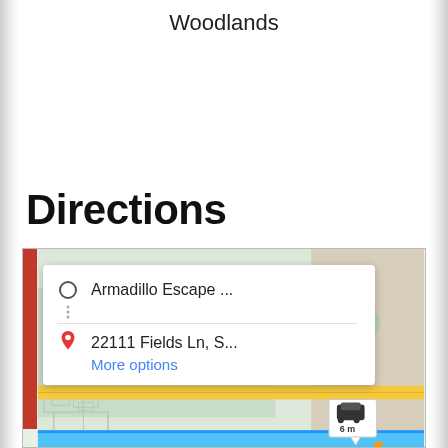Woodlands
Directions
[Figure (screenshot): Google Maps screenshot showing directions from Armadillo Escape ... to 22111 Fields Ln, S... with a map view, red route bar, popup direction card with origin/destination, More options link, Houston City Marriott label, and a car travel time badge showing 6 m.]